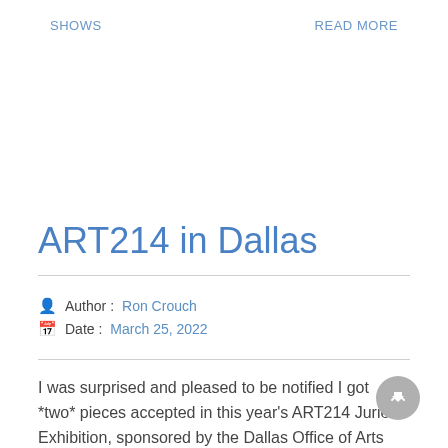SHOWS    READ MORE
ART214 in Dallas
Author : Ron Crouch
Date : March 25, 2022
I was surprised and pleased to be notified I got *two* pieces accepted in this year's ART214 Juried Exhibition, sponsored by the Dallas Office of Arts And Culture. ART214 is part of Dallas Arts Month, a city-wide